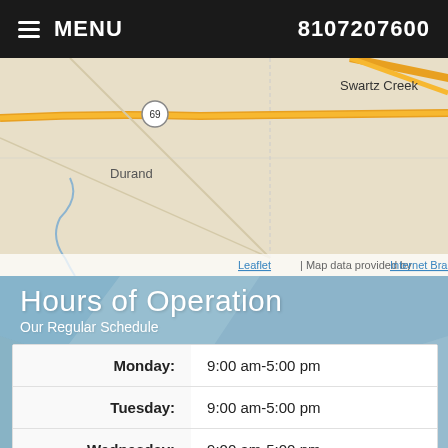MENU   8107207600
[Figure (map): Street map showing Swartz Creek, Grand Blanc, Durand, Atlas area with highways 69, 23, 75 marked. Lake Fenton visible at bottom. Leaflet map with Internet Brands attribution.]
Hours of Operation
Our Regular Schedule
| Day | Hours |
| --- | --- |
| Monday: | 9:00 am-5:00 pm |
| Tuesday: | 9:00 am-5:00 pm |
| Wednesday: | 9:00 am-5:00 pm |
| Thursday: |  |
Accessibility View   ×